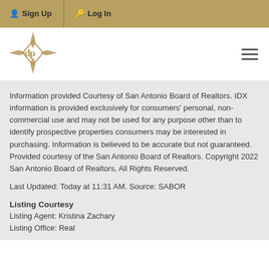Sign Up  Log In
[Figure (logo): Diamond Properties logo — gold diamond compass rose with 'dp' monogram letters]
Information provided Courtesy of San Antonio Board of Realtors. IDX information is provided exclusively for consumers' personal, non-commercial use and may not be used for any purpose other than to identify prospective properties consumers may be interested in purchasing. Information is believed to be accurate but not guaranteed. Provided courtesy of the San Antonio Board of Realtors. Copyright 2022 San Antonio Board of Realtors, All Rights Reserved.
Last Updated: Today at 11:31 AM. Source: SABOR
Listing Courtesy
Listing Agent: Kristina Zachary
Listing Office: Real